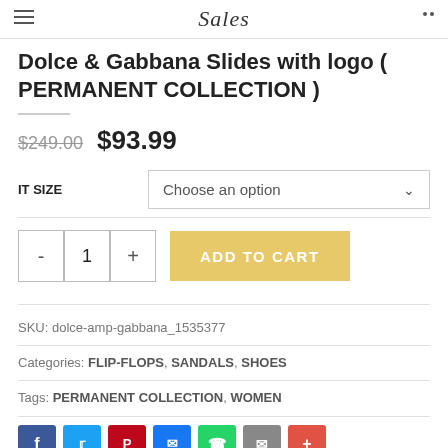Sales
Dolce & Gabbana Slides with logo ( PERMANENT COLLECTION )
$249.00  $93.99
IT SIZE  Choose an option
- 1 +  ADD TO CART
SKU: dolce-amp-gabbana_1535377
Categories: FLIP-FLOPS, SANDALS, SHOES
Tags: PERMANENT COLLECTION, WOMEN